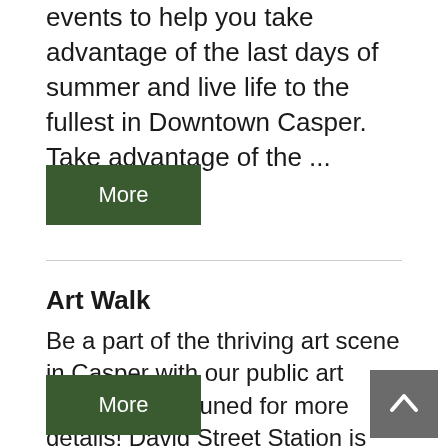events to help you take advantage of the last days of summer and live life to the fullest in Downtown Casper.   Take advantage of the ...
More
Art Walk
Be a part of the thriving art scene in Casper with our public art project!  Stay tuned for more details! David Street Station is where Casper comes together! Music, food, friends, and family find each other on our green grass and glistening plaza walks. We're your community hang out spot - and we can't wait to meet ...
More